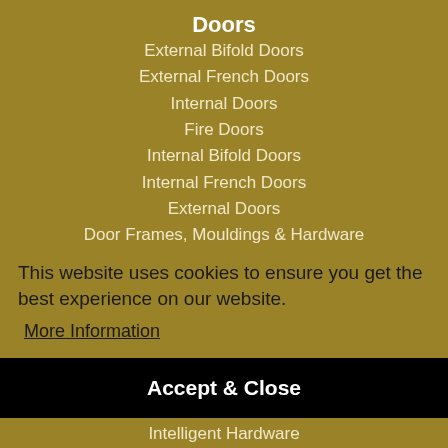Doors
External Bifold Doors
External French Doors
Internal Doors
Fire Doors
Internal Bifold Doors
Internal French Doors
External Doors
Door Frames, Mouldings & Hardware
Sliding Doors
Patio Doors
French D...
This website uses cookies to ensure you get the best experience on our website.
More Information
Accept & Close
Intelligent Hardware